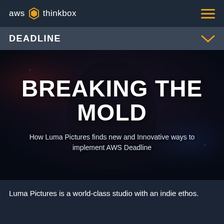aws thinkbox
DEADLINE
[Figure (illustration): Dark fantasy / sci-fi character (armored creature) used as hero background image with overlay text 'BREAKING THE MOLD' and subtitle 'How Luma Pictures finds new and Innovative ways to implement AWS Deadline']
BREAKING THE MOLD
How Luma Pictures finds new and Innovative ways to implement AWS Deadline
Luma Pictures is a world-class studio with an indie ethos.